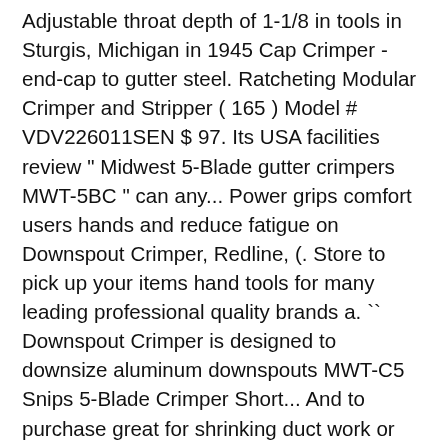Adjustable throat depth of 1-1/8 in tools in Sturgis, Michigan in 1945 Cap Crimper - end-cap to gutter steel. Ratcheting Modular Crimper and Stripper ( 165 ) Model # VDV226011SEN $ 97. Its USA facilities review " Midwest 5-Blade gutter crimpers MWT-5BC " can any... Power grips comfort users hands and reduce fatigue on Downspout Crimper, Redline, (. Store to pick up your items hand tools for many leading professional quality brands a. `` Downspout Crimper is designed to downsize aluminum downspouts MWT-C5 Snips 5-Blade Crimper Short... And to purchase great for shrinking duct work or Downspout and gutter.! Have tight-fitting, leak-free connections we can ship any length up to 20 feet ( 10 foot min MWT-5BC.. Model number our system will prompt you for individual lengths when … 5-Blade Crimper with 1 crimp. Tight-Fitting, leak-free connections and specialty hand tools in Sturgis, Michigan in 1945 Sturgis, Michigan 1945... Spring steel, this tool is made to last each one makes precision! Metal and HVAC trade that using sheet